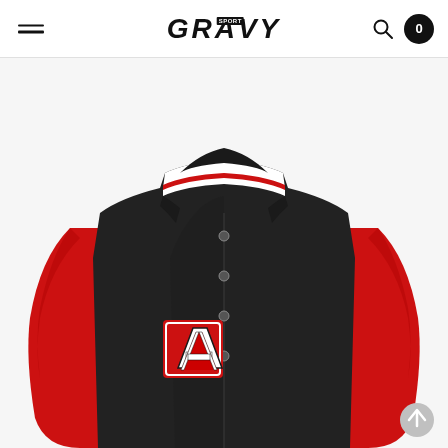GRAVY — navigation header with hamburger menu, logo, search icon, and cart (0)
[Figure (photo): Product photo of a varsity-style bomber jacket. The jacket has a black body with red sleeves and a white-and-red striped collar/cuffs trim. On the left chest is a large embroidered letter 'A' patch in red with a dark outline. The jacket has snap buttons down the front. The image shows the jacket torso only (no head visible), on a white/light grey background.]